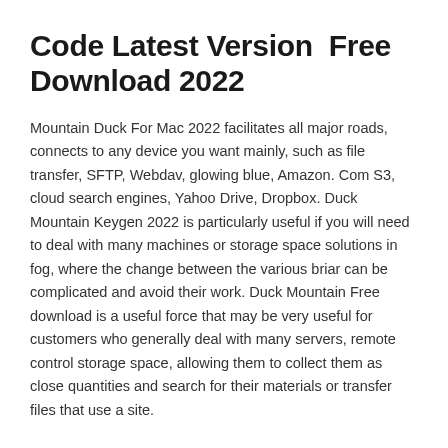Code Latest Version Free Download 2022
Mountain Duck For Mac 2022 facilitates all major roads, connects to any device you want mainly, such as file transfer, SFTP, Webdav, glowing blue, Amazon. Com S3, cloud search engines, Yahoo Drive, Dropbox. Duck Mountain Keygen 2022 is particularly useful if you will need to deal with many machines or storage space solutions in fog, where the change between the various briar can be complicated and avoid their work. Duck Mountain Free download is a useful force that may be very useful for customers who generally deal with many servers, remote control storage space, allowing them to collect them as close quantities and search for their materials or transfer files that use a site.